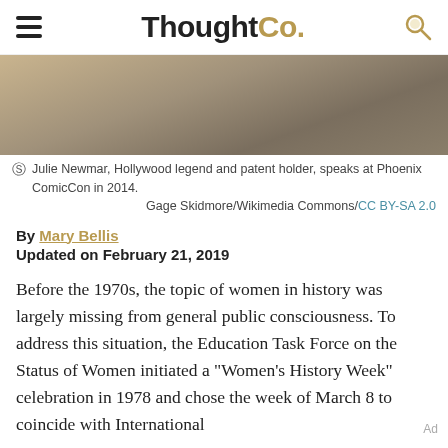ThoughtCo.
[Figure (photo): Cropped brownish-tan textured photo background, partial image of a person at a convention]
Julie Newmar, Hollywood legend and patent holder, speaks at Phoenix ComicCon in 2014.
Gage Skidmore/Wikimedia Commons/CC BY-SA 2.0
By Mary Bellis
Updated on February 21, 2019
Before the 1970s, the topic of women in history was largely missing from general public consciousness. To address this situation, the Education Task Force on the Status of Women initiated a "Women's History Week" celebration in 1978 and chose the week of March 8 to coincide with International